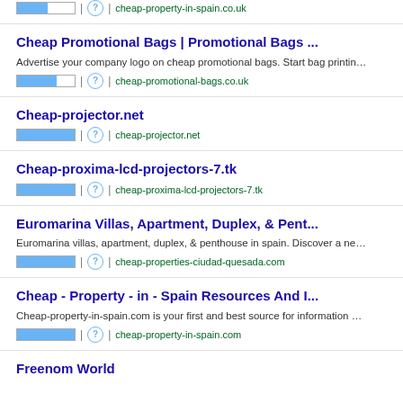[Figure (screenshot): Top partial search result with bar rating and URL: cheap-property-in-spain.co.uk]
Cheap Promotional Bags | Promotional Bags ...
Advertise your company logo on cheap promotional bags. Start bag printin…
cheap-promotional-bags.co.uk
Cheap-projector.net
cheap-projector.net
Cheap-proxima-lcd-projectors-7.tk
cheap-proxima-lcd-projectors-7.tk
Euromarina Villas, Apartment, Duplex, & Pent...
Euromarina villas, apartment, duplex, & penthouse in spain. Discover a ne…
cheap-properties-ciudad-quesada.com
Cheap - Property - in - Spain Resources And I...
Cheap-property-in-spain.com is your first and best source for information …
cheap-property-in-spain.com
Freenom World